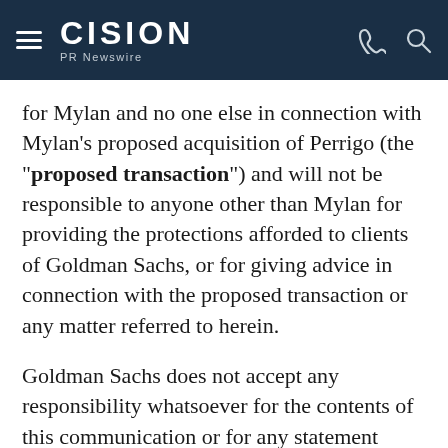CISION PR Newswire
for Mylan and no one else in connection with Mylan's proposed acquisition of Perrigo (the "proposed transaction") and will not be responsible to anyone other than Mylan for providing the protections afforded to clients of Goldman Sachs, or for giving advice in connection with the proposed transaction or any matter referred to herein.
Goldman Sachs does not accept any responsibility whatsoever for the contents of this communication or for any statement made or purported to be made by them or on their behalf in connection with the offer. Goldman Sachs accordingly disclaims all and any liability whether arising in tort, contract or